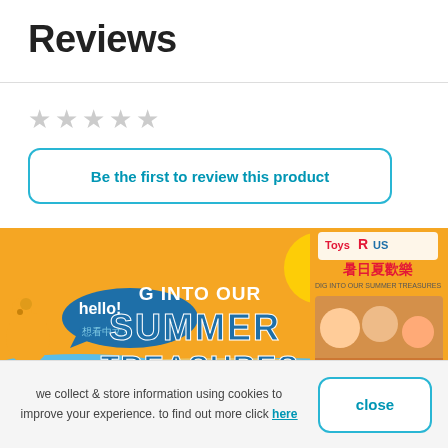Reviews
[Figure (other): Five empty/grey star rating icons indicating no reviews yet]
Be the first to review this product
[Figure (illustration): Toys R Us summer promotional banner showing a cartoon giraffe saying hello, text reading 'G INTO OUR SUMMER TREASURES' and Chinese text '想看中文?', with Toys R Us logo and Chinese characters on the right side alongside children playing]
we collect & store information using cookies to improve your experience. to find out more click here